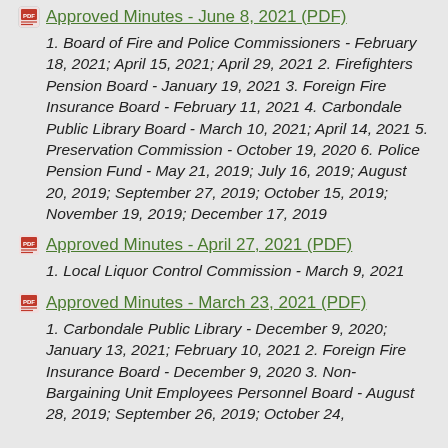Approved Minutes - June 8, 2021 (PDF)
1. Board of Fire and Police Commissioners - February 18, 2021; April 15, 2021; April 29, 2021 2. Firefighters Pension Board - January 19, 2021 3. Foreign Fire Insurance Board - February 11, 2021 4. Carbondale Public Library Board - March 10, 2021; April 14, 2021 5. Preservation Commission - October 19, 2020 6. Police Pension Fund - May 21, 2019; July 16, 2019; August 20, 2019; September 27, 2019; October 15, 2019; November 19, 2019; December 17, 2019
Approved Minutes - April 27, 2021 (PDF)
1. Local Liquor Control Commission - March 9, 2021
Approved Minutes - March 23, 2021 (PDF)
1. Carbondale Public Library - December 9, 2020; January 13, 2021; February 10, 2021 2. Foreign Fire Insurance Board - December 9, 2020 3. Non-Bargaining Unit Employees Personnel Board - August 28, 2019; September 26, 2019; October 24,